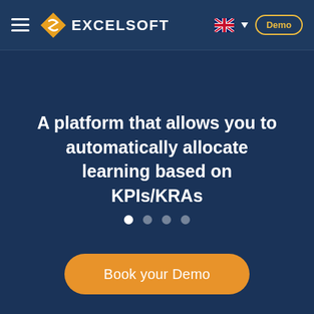[Figure (logo): Excelsoft logo with diamond-shaped yellow/orange icon and white EXCELSOFT text]
A platform that allows you to automatically allocate learning based on KPIs/KRAs
[Figure (other): Carousel navigation dots: 4 dots, first one active (white), others semi-transparent]
Book your Demo